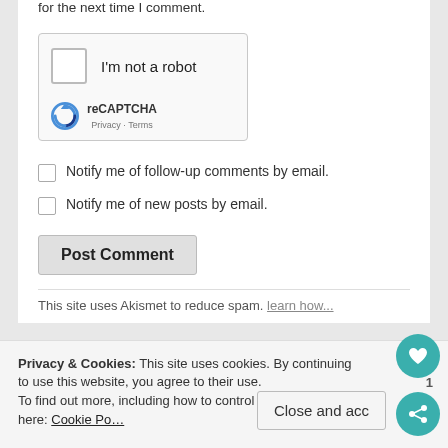for the next time I comment.
[Figure (screenshot): reCAPTCHA widget with checkbox labeled 'I'm not a robot', reCAPTCHA logo, Privacy and Terms links]
Notify me of follow-up comments by email.
Notify me of new posts by email.
Post Comment
Privacy & Cookies: This site uses cookies. By continuing to use this website, you agree to their use.
To find out more, including how to control cookies, see here: Cookie Po...
Close and acc